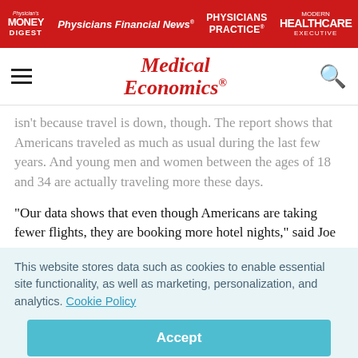Physician's Money Digest | Physicians Financial News | Physicians Practice | Modern Healthcare Executive
[Figure (logo): Medical Economics logo with red italic text]
isn't because travel is down, though. The report shows that Americans traveled as much as usual during the last few years. And young men and women between the ages of 18 and 34 are actually traveling more these days.
"Our data shows that even though Americans are taking fewer flights, they are booking more hotel nights," said Joe
This website stores data such as cookies to enable essential site functionality, as well as marketing, personalization, and analytics. Cookie Policy
Accept
Deny